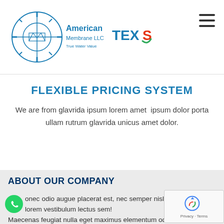American Membrane LLC | TEXS - Header navigation
FLEXIBLE PRICING SYSTEM
We are from glavrida ipsum lorem amet ipsum dolor porta ullam rutrum glavrida unicus amet dolor.
ABOUT OUR COMPANY
onec odio augue placerat est, nec semper nisl lorem vestibulum lectus sem!
Maecenas feugiat nulla eget maximus elementum odio